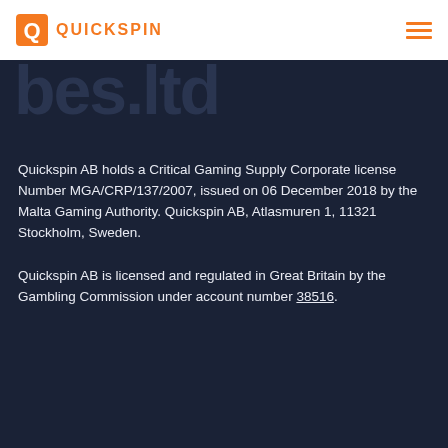QUICKSPIN
[Figure (other): Partial large bold text in dark background, partially visible, reading 'bes.ltd']
Quickspin AB holds a Critical Gaming Supply Corporate license Number MGA/CRP/137/2007, issued on 06 December 2018 by the Malta Gaming Authority. Quickspin AB, Atlasmuren 1, 11321 Stockholm, Sweden.
Quickspin AB is licensed and regulated in Great Britain by the Gambling Commission under account number 38516.